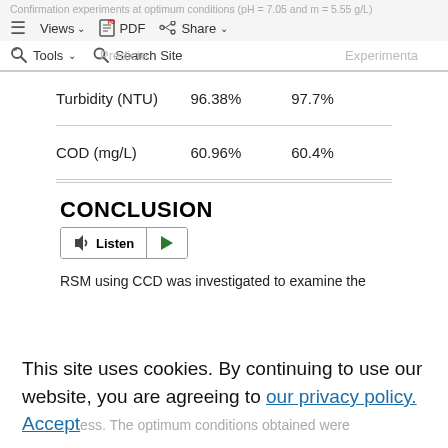Confirmation experiments at optimum conditions (pH = 7.05 and m = 5.55 g/L)
[Figure (screenshot): Browser navigation bar with Views, PDF, Share buttons and Tools, Search Site options]
|  | Predicted value | Experimental value |
| --- | --- | --- |
| Turbidity (NTU) | 96.38% | 97.7% |
| COD (mg/L) | 60.96% | 60.4% |
CONCLUSION
[Figure (other): Listen audio player button with play control]
RSM using CCD was investigated to examine the
This site uses cookies. By continuing to use our website, you are agreeing to our privacy policy. Accept ess. The optimum conditions obtained were